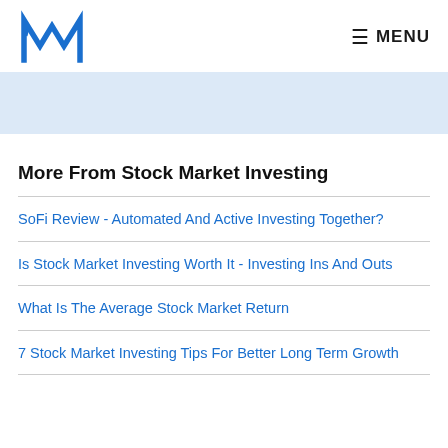MM logo | MENU
[Figure (other): Light blue advertisement banner placeholder]
More From Stock Market Investing
SoFi Review - Automated And Active Investing Together?
Is Stock Market Investing Worth It - Investing Ins And Outs
What Is The Average Stock Market Return
7 Stock Market Investing Tips For Better Long Term Growth